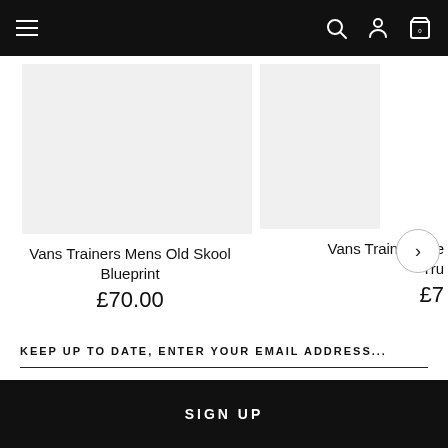Navigation bar with hamburger menu, search, account, and cart icons
[Figure (screenshot): Product image placeholder for Vans Trainers Mens Old Skool Blueprint (light grey rectangle)]
Vans Trainers Mens Old Skool Blueprint
£70.00
[Figure (screenshot): Partial product image placeholder for Vans Trainers Mens (truncated) with next arrow button]
Vans Trainers Me... Tru...
£7...
KEEP UP TO DATE, ENTER YOUR EMAIL ADDRESS...
SIGN UP